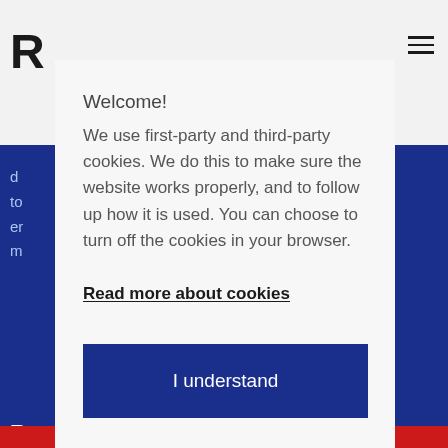[Figure (screenshot): Background webpage with dark blue banner and partial text visible behind the cookie consent modal]
Welcome!
We use first-party and third-party cookies. We do this to make sure the website works properly, and to follow up how it is used. You can choose to turn off the cookies in your browser.
Read more about cookies
I understand